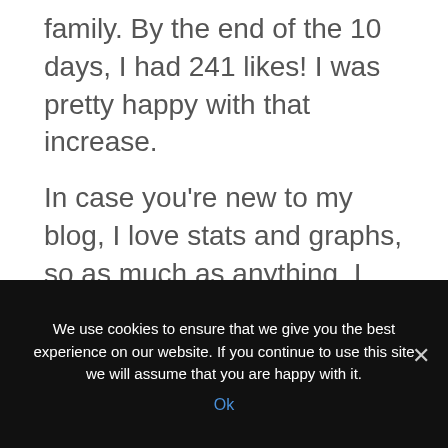family. By the end of the 10 days, I had 241 likes! I was pretty happy with that increase.
In case you're new to my blog, I love stats and graphs, so as much as anything, I really enjoyed watching the line go up on this graph, it certainly made me feel productive.
[Figure (other): Partial view of a graph showing a rising line, partially visible at the bottom of the page]
We use cookies to ensure that we give you the best experience on our website. If you continue to use this site we will assume that you are happy with it.
Ok